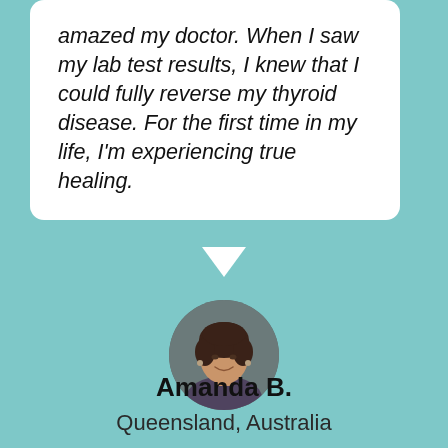amazed my doctor. When I saw my lab test results, I knew that I could fully reverse my thyroid disease. For the first time in my life, I'm experiencing true healing.
[Figure (photo): Circular portrait photo of Amanda B., a middle-aged woman with short dark hair, wearing a patterned top, smiling.]
Amanda B.
Queensland, Australia